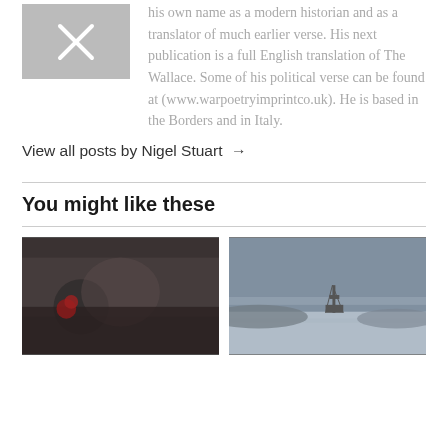[Figure (photo): Author avatar placeholder image with X mark on grey background]
his own name as a modern historian and as a translator of much earlier verse. His next publication is a full English translation of The Wallace. Some of his political verse can be found at (www.warpoetryimprintco.uk). He is based in the Borders and in Italy.
View all posts by Nigel Stuart →
You might like these
[Figure (photo): Photo of people at an event, a woman with red hair and face paint in foreground]
[Figure (photo): Photo of an oil rig on calm water with grey cloudy sky]